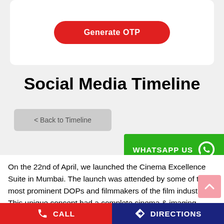[Figure (screenshot): Red rounded button labeled 'Generate OTP' on a white card background]
Social Media Timeline
[Figure (screenshot): Gray button labeled '< Back to Timeline']
[Figure (screenshot): Green WhatsApp button labeled 'WHATSAPP US' with phone icon]
On the 22nd of April, we launched the Cinema Excellence Suite in Mumbai. The launch was attended by some of the most prominent DOPs and filmmakers of the film industry. This unique concept had a complete cinema & imaging experience, accessories as well as a post-production desk for complete workflow experience in a mobile suite. The Cinema Excellence Suite will visit various production houses across Mumbai. Disclaimer: Cinema Excellence Suite has been
[Figure (screenshot): Bottom navigation bar with red CALL button on left and dark blue DIRECTIONS button on right]